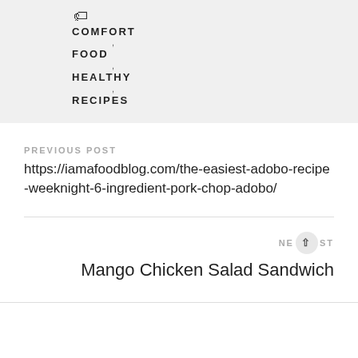COMFORT
FOOD
HEALTHY
RECIPES
PREVIOUS POST
https://iamafoodblog.com/the-easiest-adobo-recipe-weeknight-6-ingredient-pork-chop-adobo/
NEXT POST
Mango Chicken Salad Sandwich